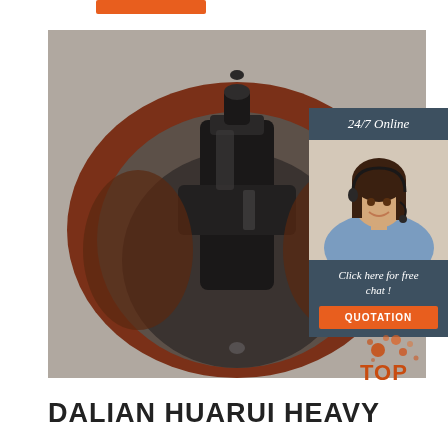[Figure (photo): Orange navigation/category bar at top]
[Figure (photo): Close-up industrial photo of heavy machinery component — a large cylindrical housing viewed from above, showing dark metallic internal parts and bolt assemblies, with a reddish-brown outer ring]
[Figure (infographic): Sidebar with '24/7 Online' header, photo of smiling female customer service representative wearing headset, 'Click here for free chat!' text, and orange QUOTATION button, all on dark blue-gray background]
[Figure (logo): TOP logo in lower right corner with orange dots/splash graphic and 'TOP' text]
DALIAN HUARUI HEAVY